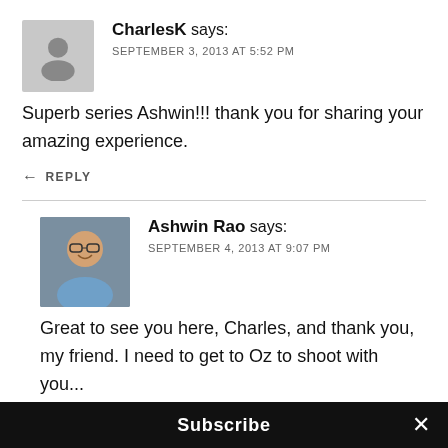CharlesK says: SEPTEMBER 3, 2013 AT 5:52 PM
Superb series Ashwin!!! thank you for sharing your amazing experience.
REPLY
Ashwin Rao says: SEPTEMBER 4, 2013 AT 9:07 PM
Great to see you here, Charles, and thank you, my friend. I need to get to Oz to shoot with you...
Subscribe